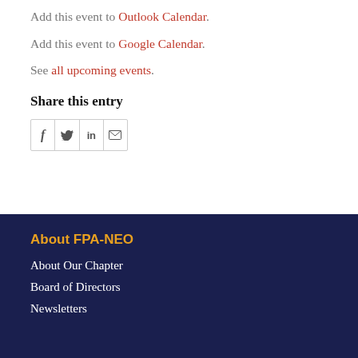Add this event to Outlook Calendar.
Add this event to Google Calendar.
See all upcoming events.
Share this entry
[Figure (other): Social share icons: Facebook (f), Twitter (bird), LinkedIn (in), Email (envelope)]
About FPA-NEO
About Our Chapter
Board of Directors
Newsletters